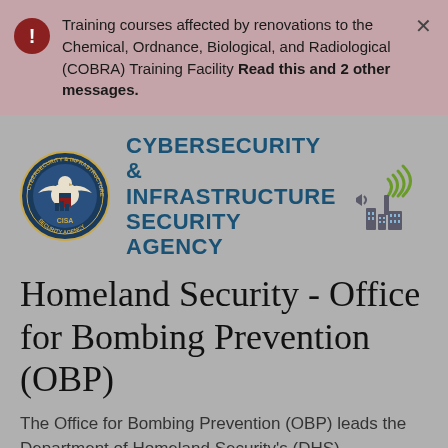Training courses affected by renovations to the Chemical, Ordnance, Biological, and Radiological (COBRA) Training Facility Read this and 2 other messages.
[Figure (logo): CISA - Cybersecurity & Infrastructure Security Agency logo with eagle seal and radio tower graphic]
Homeland Security - Office for Bombing Prevention (OBP)
The Office for Bombing Prevention (OBP) leads the Department of Homeland Security's (DHS)